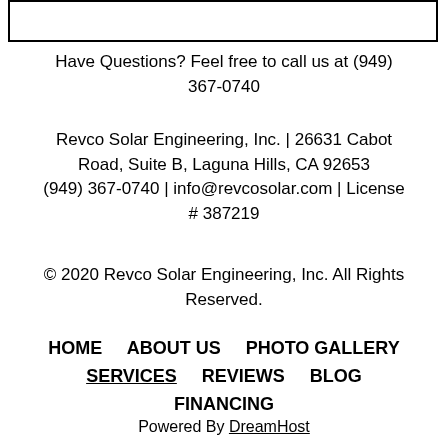[Figure (other): Empty white rectangle with black border, likely a logo placeholder]
Have Questions? Feel free to call us at (949) 367-0740
Revco Solar Engineering, Inc. | 26631 Cabot Road, Suite B, Laguna Hills, CA 92653 (949) 367-0740 | info@revcosolar.com | License # 387219
© 2020 Revco Solar Engineering, Inc. All Rights Reserved.
HOME    ABOUT US    PHOTO GALLERY
SERVICES    REVIEWS    BLOG
FINANCING
Powered By DreamHost